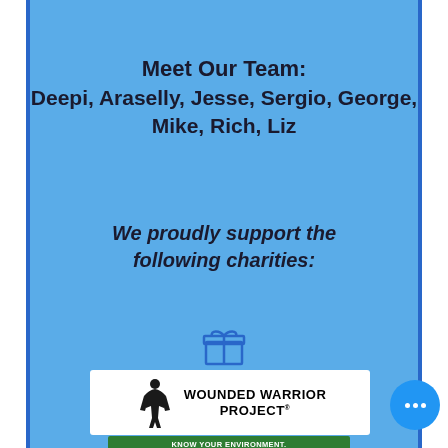Meet Our Team: Deepi, Araselly, Jesse, Sergio, George, Mike, Rich, Liz
We proudly support the following charities:
[Figure (illustration): Gift box icon in blue outline style]
[Figure (logo): Wounded Warrior Project logo with soldier silhouette and bold text]
[Figure (logo): Green banner reading KNOW YOUR ENVIRONMENT. PROTECT YOUR HEALTH. with environmental health charity logo below]